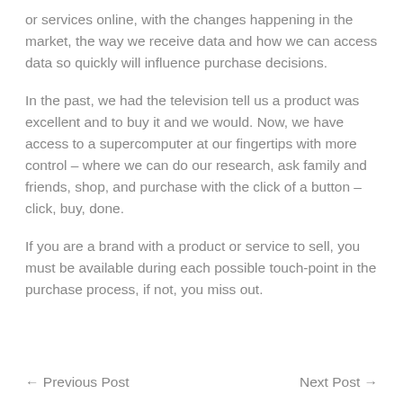or services online, with the changes happening in the market, the way we receive data and how we can access data so quickly will influence purchase decisions.
In the past, we had the television tell us a product was excellent and to buy it and we would. Now, we have access to a supercomputer at our fingertips with more control – where we can do our research, ask family and friends, shop, and purchase with the click of a button – click, buy, done.
If you are a brand with a product or service to sell, you must be available during each possible touch-point in the purchase process, if not, you miss out.
← Previous Post    Next Post →